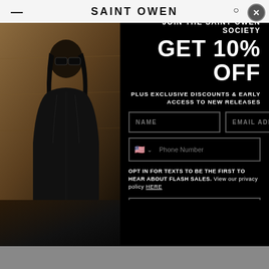SAINT OWEN
[Figure (photo): Fashion photo of a woman wearing sunglasses and a black leather jacket, leaning against a textured stone/sand wall]
JOIN THE SAINT OWEN SOCIETY
GET 10% OFF
PLUS EXCLUSIVE DISCOUNTS & EARLY ACCESS TO NEW RELEASES
NAME | EMAIL ADDRESS (form fields)
Phone Number (form field with US flag)
OPT IN FOR TEXTS TO BE THE FIRST TO HEAR ABOUT FLASH SALES. View our privacy policy HERE
SIGN UP